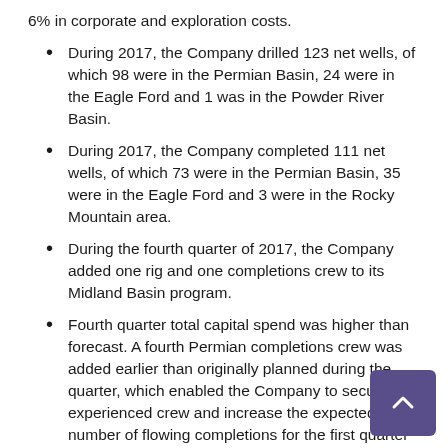6% in corporate and exploration costs.
During 2017, the Company drilled 123 net wells, of which 98 were in the Permian Basin, 24 were in the Eagle Ford and 1 was in the Powder River Basin.
During 2017, the Company completed 111 net wells, of which 73 were in the Permian Basin, 35 were in the Eagle Ford and 3 were in the Rocky Mountain area.
During the fourth quarter of 2017, the Company added one rig and one completions crew to its Midland Basin program.
Fourth quarter total capital spend was higher than forecast. A fourth Permian completions crew was added earlier than originally planned during the quarter, which enabled the Company to secure an experienced crew and increase the expected number of flowing completions for the first quarter of 2018. Total capital spend was also affected by acceleration of facilities to keep pace with completions. In addition, drilling and completion costs increased per well as a result of employing